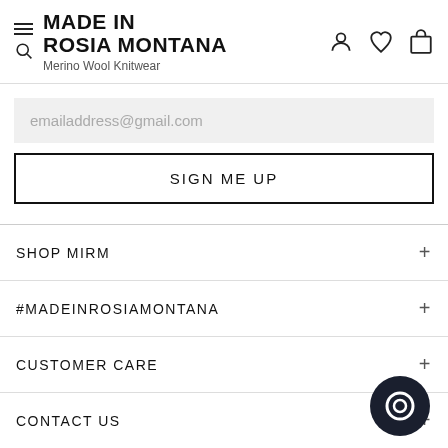MADE IN ROSIA MONTANA — Merino Wool Knitwear
emailaddress@gmail.com
SIGN ME UP
SHOP MIRM
#MADEINROSIAMONTANA
CUSTOMER CARE
CONTACT US
[Figure (illustration): Chat widget bubble icon in dark navy/black circle at bottom right]